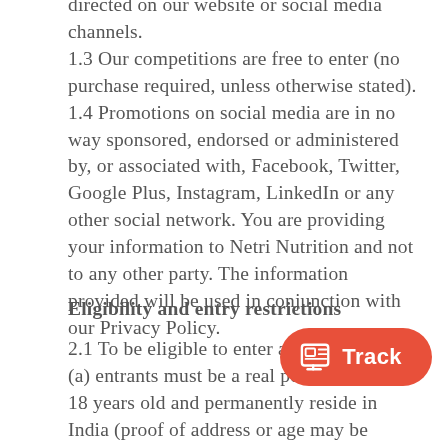directed on our website or social media channels. 1.3 Our competitions are free to enter (no purchase required, unless otherwise stated). 1.4 Promotions on social media are in no way sponsored, endorsed or administered by, or associated with, Facebook, Twitter, Google Plus, Instagram, LinkedIn or any other social network. You are providing your information to Netri Nutrition and not to any other party. The information provided will be used in conjunction with our Privacy Policy.
Eligibility and entry restrictions
2.1 To be eligible to enter a competition: (a) entrants must be a real person, at least 18 years old and permanently reside in India (proof of address or age may be required) (b) entrants must not be our empl agent, or an employee, officer or agent of any person or organisation involved in the running of